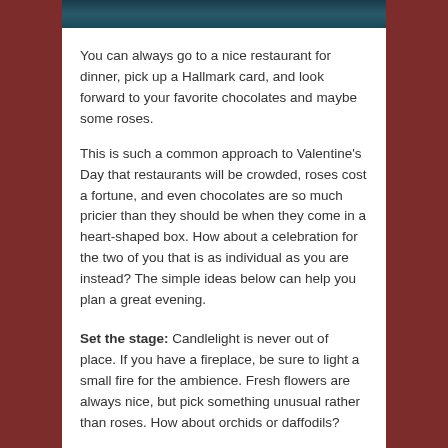[Figure (photo): Dark teal/blue image strip at top of content area]
You can always go to a nice restaurant for dinner, pick up a Hallmark card, and look forward to your favorite chocolates and maybe some roses.
This is such a common approach to Valentine's Day that restaurants will be crowded, roses cost a fortune, and even chocolates are so much pricier than they should be when they come in a heart-shaped box. How about a celebration for the two of you that is as individual as you are instead? The simple ideas below can help you plan a great evening.
Set the stage: Candlelight is never out of place. If you have a fireplace, be sure to light a small fire for the ambience. Fresh flowers are always nice, but pick something unusual rather than roses. How about orchids or daffodils?
Make it unique: Do you always eat at the kitchen